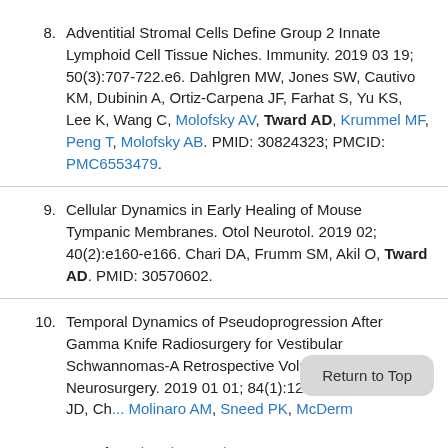8. Adventitial Stromal Cells Define Group 2 Innate Lymphoid Cell Tissue Niches. Immunity. 2019 03 19; 50(3):707-722.e6. Dahlgren MW, Jones SW, Cautivo KM, Dubinin A, Ortiz-Carpena JF, Farhat S, Yu KS, Lee K, Wang C, Molofsky AV, Tward AD, Krummel MF, Peng T, Molofsky AB. PMID: 30824323; PMCID: PMC6553479.
9. Cellular Dynamics in Early Healing of Mouse Tympanic Membranes. Otol Neurotol. 2019 02; 40(2):e160-e166. Chari DA, Frumm SM, Akil O, Tward AD. PMID: 30570602.
10. Temporal Dynamics of Pseudoprogression After Gamma Knife Radiosurgery for Vestibular Schwannomas-A Retrospective Volumetric Study. Neurosurgery. 2019 01 01; 84(1):123-131. Breshears JD, Ch... Molinaro AM, Sneed PK, McDerm... Tward A, Theodosopoulos PV. PMID: